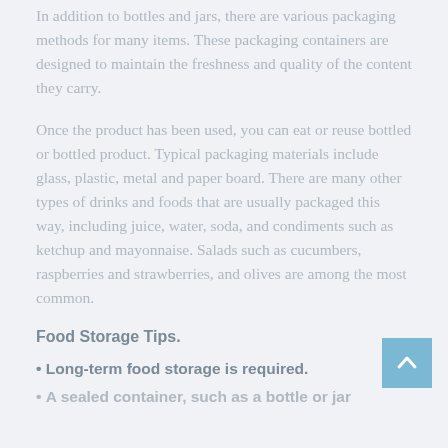In addition to bottles and jars, there are various packaging methods for many items. These packaging containers are designed to maintain the freshness and quality of the content they carry.
Once the product has been used, you can eat or reuse bottled or bottled product. Typical packaging materials include glass, plastic, metal and paper board. There are many other types of drinks and foods that are usually packaged this way, including juice, water, soda, and condiments such as ketchup and mayonnaise. Salads such as cucumbers, raspberries and strawberries, and olives are among the most common.
Food Storage Tips.
• Long-term food storage is required.
• A sealed container, such as a bottle or jar